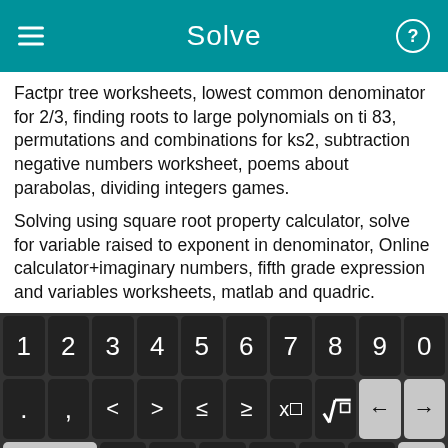Solve
Factpr tree worksheets, lowest common denominator for 2/3, finding roots to large polynomials on ti 83, permutations and combinations for ks2, subtraction negative numbers worksheet, poems about parabolas, dividing integers games.
Solving using square root property calculator, solve for variable raised to exponent in denominator, Online calculator+imaginary numbers, fifth grade expression and variables worksheets, matlab and quadric.
[Figure (screenshot): Calculator keyboard with numeric keys 1-9,0 on top row; second row with dot, comma, <, >, ≤, ≥, x^□, √□, backspace left/right; third row with f(x), x subscript, fraction, |□|, (□), *, /, delete; fourth row with abc, undo, x, y, =, +, -, Solve! button]